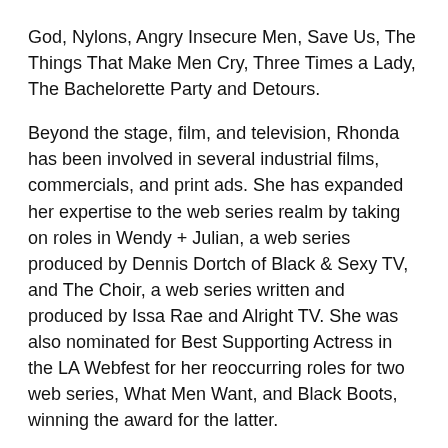God, Nylons, Angry Insecure Men, Save Us, The Things That Make Men Cry, Three Times a Lady, The Bachelorette Party and Detours.
Beyond the stage, film, and television, Rhonda has been involved in several industrial films, commercials, and print ads. She has expanded her expertise to the web series realm by taking on roles in Wendy + Julian, a web series produced by Dennis Dortch of Black & Sexy TV, and The Choir, a web series written and produced by Issa Rae and Alright TV. She was also nominated for Best Supporting Actress in the LA Webfest for her reoccurring roles for two web series, What Men Want, and Black Boots, winning the award for the latter.
As a philanthropist, Rhonda believes in giving back to her community, especially during the pandemic and says, “Helping others and making a difference in communities is what will help to make the world a better place.” “One person at a time, one day at a time, and one project at a time, you can make a difference that will leave a lasting impact in your community.”